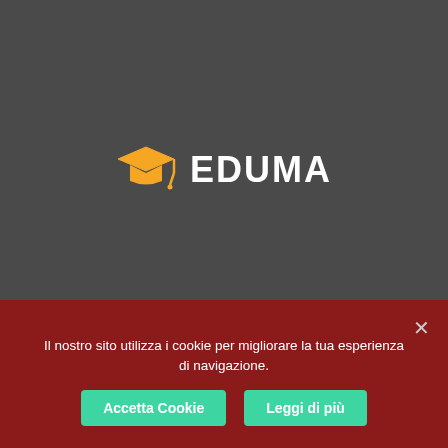[Figure (logo): Eduma education logo: a yellow graduation cap icon followed by the text EDUMA in white bold letters, on a dark gray background]
Il nostro sito utilizza i cookie per migliorare la tua esperienza di navigazione.
Accetta Cookie
Leggi di più